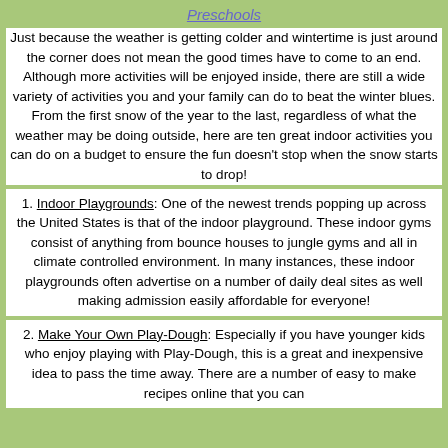Preschools
Just because the weather is getting colder and wintertime is just around the corner does not mean the good times have to come to an end. Although more activities will be enjoyed inside, there are still a wide variety of activities you and your family can do to beat the winter blues. From the first snow of the year to the last, regardless of what the weather may be doing outside, here are ten great indoor activities you can do on a budget to ensure the fun doesn’t stop when the snow starts to drop!
1. Indoor Playgrounds: One of the newest trends popping up across the United States is that of the indoor playground. These indoor gyms consist of anything from bounce houses to jungle gyms and all in climate controlled environment. In many instances, these indoor playgrounds often advertise on a number of daily deal sites as well making admission easily affordable for everyone!
2. Make Your Own Play-Dough: Especially if you have younger kids who enjoy playing with Play-Dough, this is a great and inexpensive idea to pass the time away. There are a number of easy to make recipes online that you can